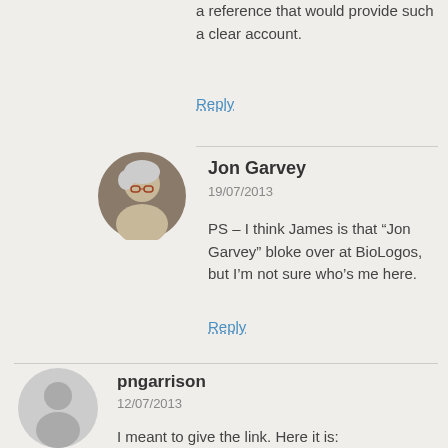a reference that would provide such a clear account.
Reply
Jon Garvey
19/07/2013
PS – I think James is that “Jon Garvey” bloke over at BioLogos, but I’m not sure who’s me here.
Reply
pngarrison
12/07/2013
I meant to give the link. Here it is:
http://whyevolutionistrue.wordpress.com/2012/12/11/a-marshall-mcluhan-moment-with-creationist-paul-nelson/
Reply